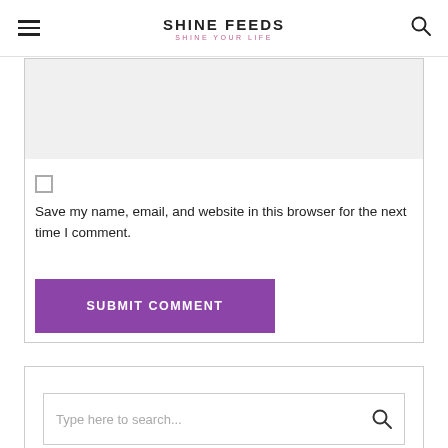SHINE FEEDS — SHINE YOUR LIFE
[Figure (screenshot): Textarea input field with light gray background, part of comment form]
Save my name, email, and website in this browser for the next time I comment.
[Figure (screenshot): Submit Comment button, purple background with white uppercase text]
[Figure (screenshot): Search widget box with search bar containing placeholder text 'Type here to search...' and search icon]
RECENT POSTS